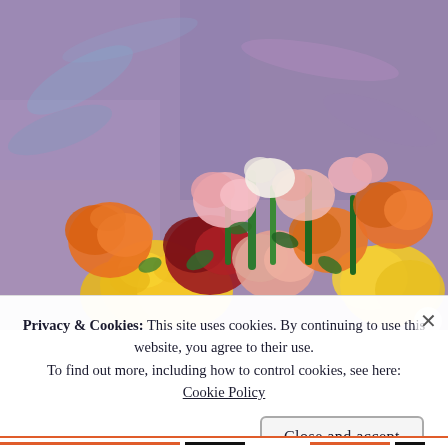[Figure (illustration): A colorful pastel/oil painting of a flower bouquet with roses and carnations in orange, red, pink, yellow, and white against a purple-blue background.]
Privacy & Cookies: This site uses cookies. By continuing to use this website, you agree to their use.
To find out more, including how to control cookies, see here: Cookie Policy
Close and accept